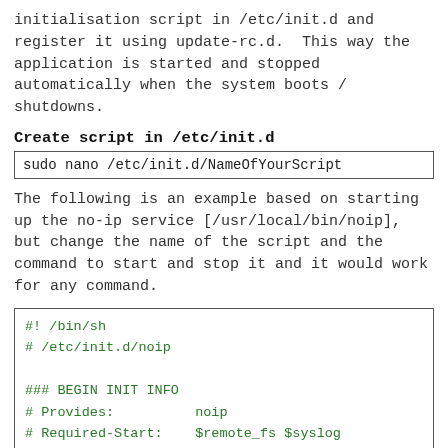initialisation script in /etc/init.d and register it using update-rc.d. This way the application is started and stopped automatically when the system boots / shutdowns.
Create script in /etc/init.d
sudo nano /etc/init.d/NameOfYourScript
The following is an example based on starting up the no-ip service [/usr/local/bin/noip], but change the name of the script and the command to start and stop it and it would work for any command.
#! /bin/sh
# /etc/init.d/noip

### BEGIN INIT INFO
# Provides:          noip
# Required-Start:    $remote_fs $syslog
# Required-Stop:     $remote_fs $syslog
# Default-Start:     2 3 4 5
# Default-Stop:      0 1 6